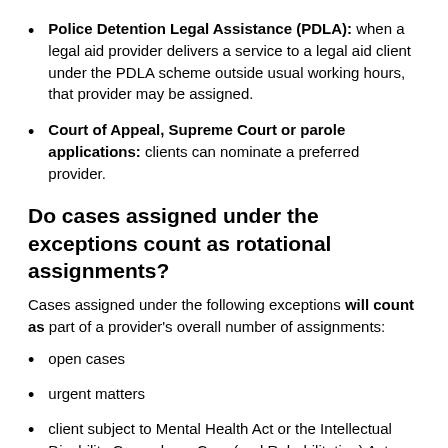Police Detention Legal Assistance (PDLA): when a legal aid provider delivers a service to a legal aid client under the PDLA scheme outside usual working hours, that provider may be assigned.
Court of Appeal, Supreme Court or parole applications: clients can nominate a preferred provider.
Do cases assigned under the exceptions count as rotational assignments?
Cases assigned under the following exceptions will count as part of a provider's overall number of assignments:
open cases
urgent matters
client subject to Mental Health Act or the Intellectual Disability Compulsory Care (and Rehabilitation) Act